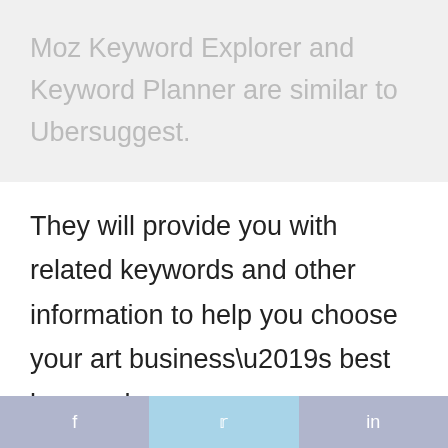Moz Keyword Explorer and Keyword Planner are similar to Ubersuggest.
They will provide you with related keywords and other information to help you choose your art business’s best keywords.
SEO Keywords For Artists
Below are some of the most popular
f   •   in